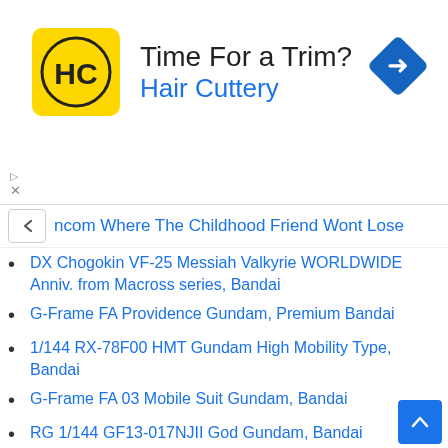[Figure (illustration): Advertisement banner for Hair Cuttery with logo (HC in yellow circle), text 'Time For a Trim?' and 'Hair Cuttery' in blue, and a blue diamond navigation icon on the right.]
ncom Where The Childhood Friend Wont Lose
DX Chogokin VF-25 Messiah Valkyrie WORLDWIDE Anniv. from Macross series, Bandai
G-Frame FA Providence Gundam, Premium Bandai
1/144 RX-78F00 HMT Gundam High Mobility Type, Bandai
G-Frame FA 03 Mobile Suit Gundam, Bandai
RG 1/144 GF13-017NJII God Gundam, Bandai
FW Gundam Converge Gold Edition, 10th Anniversary Item
MG 1/100 GN-001 Gundam Exia [Recirculation Color / Neon Purple], Bandai
HG 1/144 ASW-G-35 Gundam Hajiroboshi [Clear Color] Event Limited Bandai
ENTRY GRADE 1/144 RX-78-2 Gundam [Special Color]